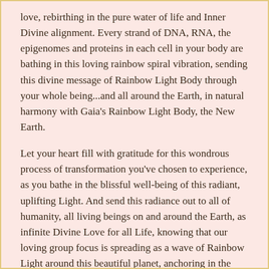love, rebirthing in the pure water of life and Inner Divine alignment. Every strand of DNA, RNA, the epigenomes and proteins in each cell in your body are bathing in this loving rainbow spiral vibration, sending this divine message of Rainbow Light Body through your whole being...and all around the Earth, in natural harmony with Gaia's Rainbow Light Body, the New Earth.
Let your heart fill with gratitude for this wondrous process of transformation you've chosen to experience, as you bathe in the blissful well-being of this radiant, uplifting Light. And send this radiance out to all of humanity, all living beings on and around the Earth, as infinite Divine Love for all Life, knowing that our loving group focus is spreading as a wave of Rainbow Light around this beautiful planet, anchoring in the collective energy field.